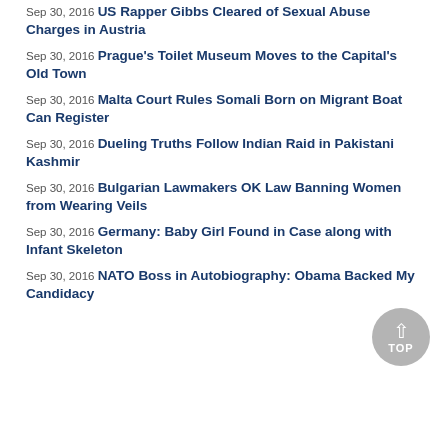Sep 30, 2016 US Rapper Gibbs Cleared of Sexual Abuse Charges in Austria
Sep 30, 2016 Prague's Toilet Museum Moves to the Capital's Old Town
Sep 30, 2016 Malta Court Rules Somali Born on Migrant Boat Can Register
Sep 30, 2016 Dueling Truths Follow Indian Raid in Pakistani Kashmir
Sep 30, 2016 Bulgarian Lawmakers OK Law Banning Women from Wearing Veils
Sep 30, 2016 Germany: Baby Girl Found in Case along with Infant Skeleton
Sep 30, 2016 NATO Boss in Autobiography: Obama Backed My Candidacy